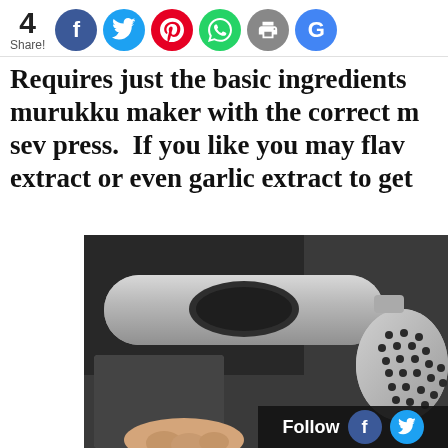4 Share! [social icons: Facebook, Twitter, Pinterest, WhatsApp, Print, Google]
Requires just the basic ingredients and a murukku maker with the correct mould or a sev press.  If you like you may flavor it with extract or even garlic extract to get
[Figure (photo): Close-up photo of a metallic murukku/sev press kitchen tool with a circular handle and a perforated disc, placed on a dark surface, held by a hand at the bottom.]
Follow [Facebook] [Twitter]